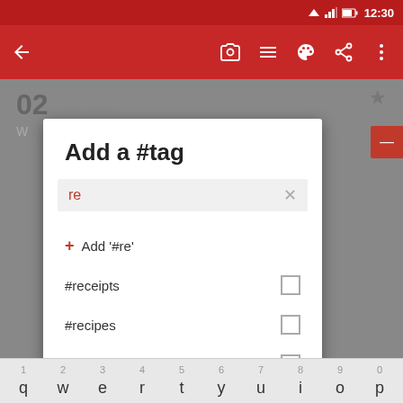[Figure (screenshot): Android mobile app screenshot showing 'Add a #tag' dialog with search field containing 're', options to add '#re', and list of existing tags: #receipts, #recipes, #restaurants with checkboxes. Red action bar at top with back arrow and icons. On-screen keyboard visible at bottom.]